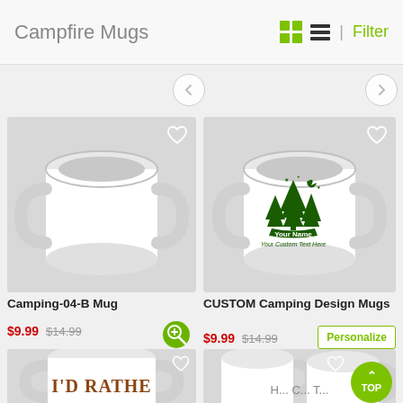Campfire Mugs | Filter
[Figure (photo): White ceramic mug with no design (Camping-04-B Mug)]
Camping-04-B Mug
$9.99 $14.99
[Figure (photo): White ceramic mug with dark green camping scene design: pine trees, tent, moon, stars, and banner reading 'Your Name' with 'Your Custom Text Here' below (CUSTOM Camping Design Mugs)]
CUSTOM Camping Design Mugs
$9.99 $14.99
[Figure (photo): Bottom-row left: partial view of a mug with brown text reading 'I'D RATHER']
[Figure (photo): Bottom-row right: partial view of two white mugs with text partially visible]